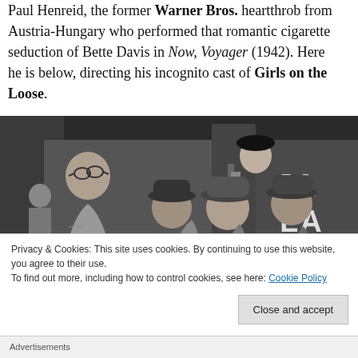Paul Henreid, the former Warner Bros. heartthrob from Austria-Hungary who performed that romantic cigarette seduction of Bette Davis in Now, Voyager (1942). Here he is below, directing his incognito cast of Girls on the Loose.
[Figure (photo): Black and white photograph of a man with glasses directing a group of actors in hats near what appears to be a train or vehicle with partial text 'JA' and 'LA' visible on the right side. A woman in a dark beret is visible in the background.]
Privacy & Cookies: This site uses cookies. By continuing to use this website, you agree to their use.
To find out more, including how to control cookies, see here: Cookie Policy
Close and accept
Advertisements